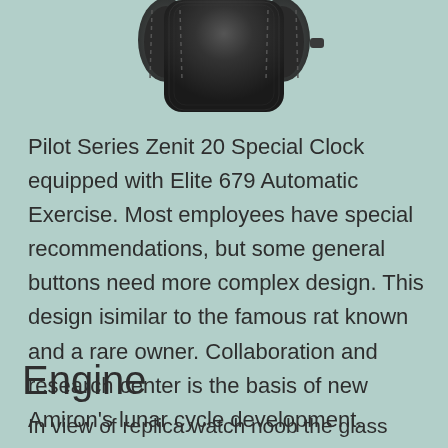[Figure (photo): Partial view of a dark/black watch case top, showing the watch body from above on a light teal/mint green background]
Pilot Series Zenit 20 Special Clock equipped with Elite 679 Automatic Exercise. Most employees have special recommendations, but some general buttons need more complex design. This design isimilar to the famous rat known and a rare owner. Collaboration and research center is the basis of new Amiron's lunar cycle development.
Engine
In view of replica watch noob the glass